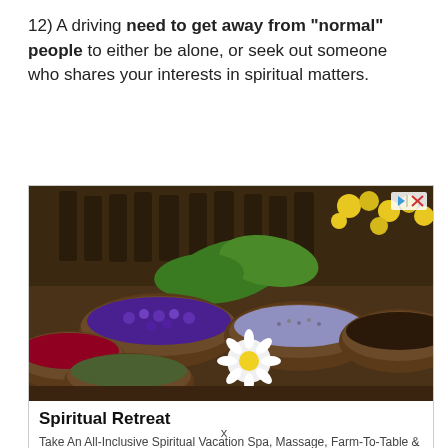12) A driving need to get away from "normal" people to either be alone, or seek out someone who shares your interests in spiritual matters.
[Figure (photo): Photo of various herbal/botanical ingredients in dark wooden bowls — purple flowers, daisy, dried herbs, seeds, spices — with glass bottles and yellow wildflowers in the background. An ad indicator icon (triangle and X) is in the top-right corner.]
Spiritual Retreat
Take An All-Inclusive Spiritual Vacation Spa, Massage, Farm-To-Table & More!
VISIT SITE
Ad
x